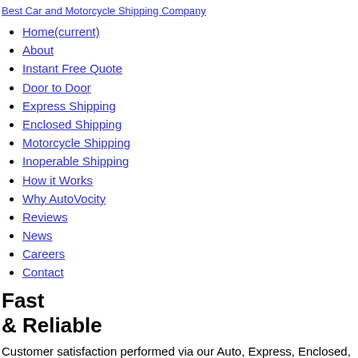Best Car and Motorcycle Shipping Company
Home(current)
About
Instant Free Quote
Door to Door
Express Shipping
Enclosed Shipping
Motorcycle Shipping
Inoperable Shipping
How it Works
Why AutoVocity
Reviews
News
Careers
Contact
Fast
& Reliable
Customer satisfaction performed via our Auto, Express, Enclosed, Motorcycle and Inoperable Shipping Services.
Call Us